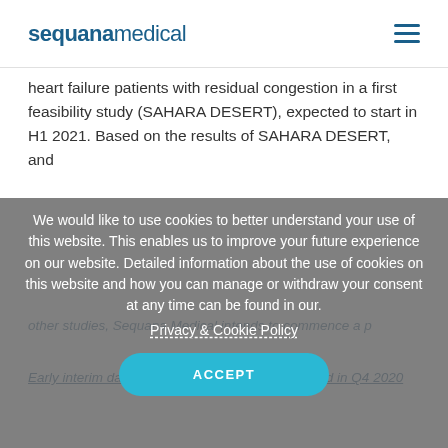sequanamedical
heart failure patients with residual congestion in a first feasibility study (SAHARA DESERT), expected to start in H1 2021. Based on the results of SAHARA DESERT, and other studies, Sequana Medical intends to commence a p[ivotal study...]
We would like to use cookies to better understand your use of this website. This enables us to improve your future experience on our website. Detailed information about the use of cookies on this website and how you can manage or withdraw your consent at any time can be found in our.
Privacy & Cookie Policy
ACCEPT
Early interim data from POSEIDON study expected in Q4 2020
Since data on the first 15 roll-in patients will soon be